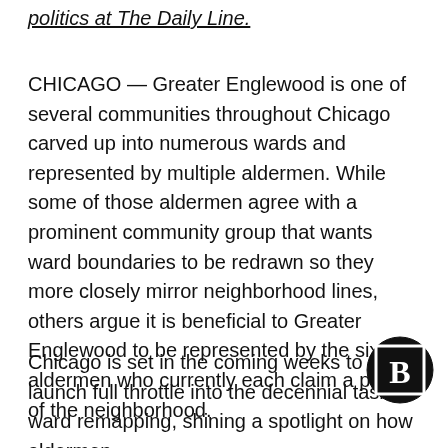politics at The Daily Line.
CHICAGO — Greater Englewood is one of several communities throughout Chicago carved up into numerous wards and represented by multiple aldermen. While some of those aldermen agree with a prominent community group that wants ward boundaries to be redrawn so they more closely mirror neighborhood lines, others argue it is beneficial to Greater Englewood to be represented by the six aldermen who currently each claim a piece of the neighborhood.
Chicago is set in the coming weeks to launch full throttle into the decennial task of ward remapping, shining a spotlight on how aldermen